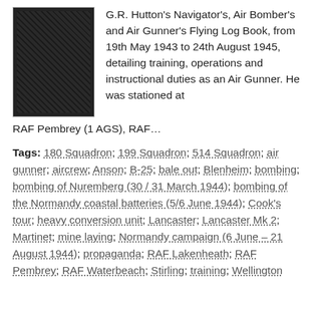[Figure (photo): Small photograph of a dark-colored book cover, appearing black or very dark green, with a textured surface.]
G.R. Hutton's Navigator's, Air Bomber's and Air Gunner's Flying Log Book, from 19th May 1943 to 24th August 1945, detailing training, operations and instructional duties as an Air Gunner. He was stationed at RAF Pembrey (1 AGS), RAF…
Tags: 180 Squadron; 199 Squadron; 514 Squadron; air gunner; aircrew; Anson; B-25; bale out; Blenheim; bombing; bombing of Nuremberg (30 / 31 March 1944); bombing of the Normandy coastal batteries (5/6 June 1944); Cook's tour; heavy conversion unit; Lancaster; Lancaster Mk 2; Martinet; mine laying; Normandy campaign (6 June – 21 August 1944); propaganda; RAF Lakenheath; RAF Pembrey; RAF Waterbeach; Stirling; training; Wellington